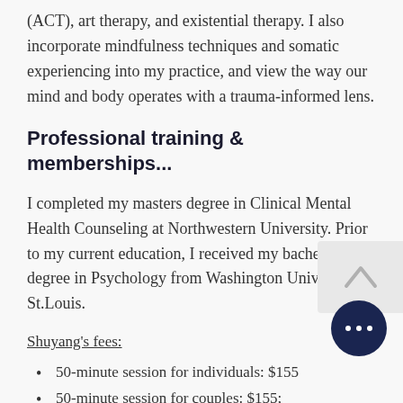(ACT), art therapy, and existential therapy. I also incorporate mindfulness techniques and somatic experiencing into my practice, and view the way our mind and body operates with a trauma-informed lens.
Professional training & memberships...
I completed my masters degree in Clinical Mental Health Counseling at Northwestern University. Prior to my current education, I received my bachelor’s degree in Psychology from Washington University in St.Louis.
Shuyang’s fees:
50-minute session for individuals: $155
50-minute session for couples: $155;
80-minute session for couples: $2...
Shuyang is in-network with Premera, Cigna, First